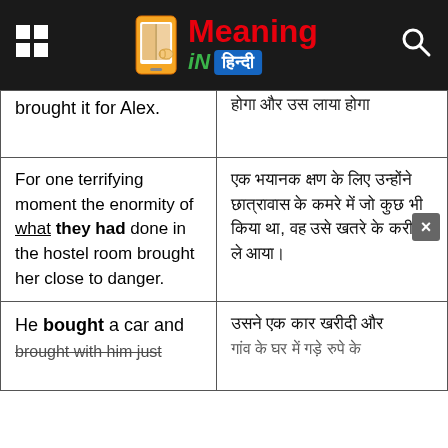[Figure (logo): Meaning IN Hindi app logo with book/phone icon, red 'Meaning', green italic 'IN', blue box 'हिन्दी']
| English | Hindi |
| --- | --- |
| brought it for Alex. | होगा और उस लाया होगा |
| For one terrifying moment the enormity of what they had done in the hostel room brought her close to danger. | एक भयानक क्षण के लिए उन्होंने छात्रावास के कमरे में जो कुछ भी किया था, वह उसे खतरे के करीब ले आया। |
| He bought a car and brought with him just | उसने एक कार खरीदी और गांव के घर में गड़े रुपे के... |